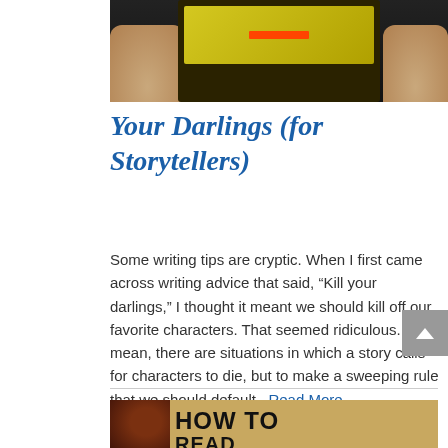[Figure (photo): Photo of hands holding a game device with yellow/green screen, dark background]
Your Darlings (for Storytellers)
Some writing tips are cryptic. When I first came across writing advice that said, “Kill your darlings,” I thought it meant we should kill off our favorite characters. That seemed ridiculous. I mean, there are situations in which a story calls for characters to die, but to make a sweeping rule that we should default...Read More
[Figure (photo): Partial photo showing HOW TO READ text on a tan/brown background with a dark figure on the left]